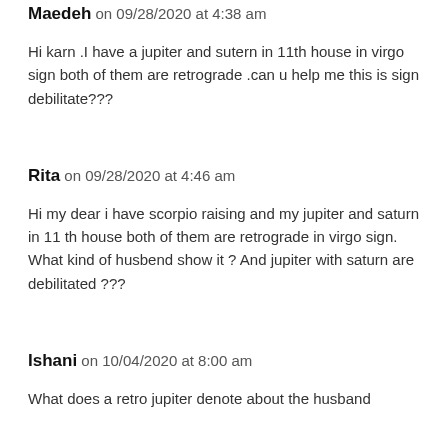Maedeh on 09/28/2020 at 4:38 am
Hi karn .I have a jupiter and sutern in 11th house in virgo sign both of them are retrograde .can u help me this is sign debilitate???
Rita on 09/28/2020 at 4:46 am
Hi my dear i have scorpio raising and my jupiter and saturn in 11 th house both of them are retrograde in virgo sign. What kind of husbend show it ? And jupiter with saturn are debilitated ???
Ishani on 10/04/2020 at 8:00 am
What does a retro jupiter denote about the husband